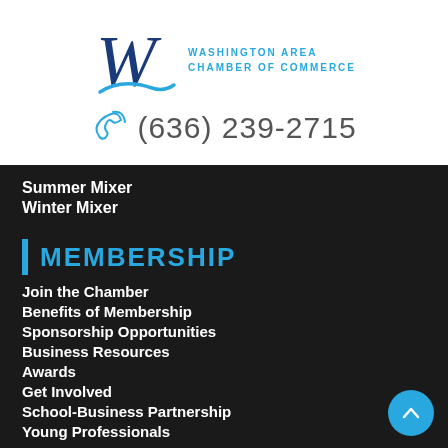[Figure (logo): Washington Area Chamber of Commerce logo with stylized W and blue text]
(636) 239-2715
Summer Mixer
Winter Mixer
MEMBERSHIP
Join the Chamber
Benefits of Membership
Sponsorship Opportunities
Business Resources
Awards
Get Involved
School-Business Partnership
Young Professionals